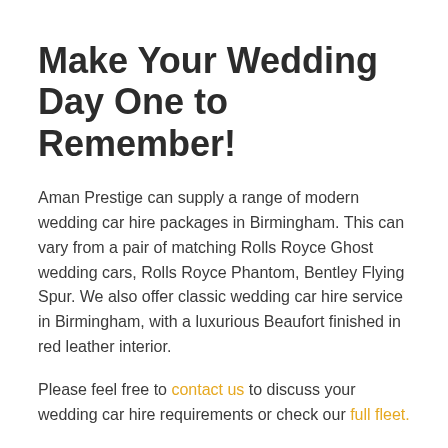Make Your Wedding Day One to Remember!
Aman Prestige can supply a range of modern wedding car hire packages in Birmingham. This can vary from a pair of matching Rolls Royce Ghost wedding cars, Rolls Royce Phantom, Bentley Flying Spur. We also offer classic wedding car hire service in Birmingham, with a luxurious Beaufort finished in red leather interior.
Please feel free to contact us to discuss your wedding car hire requirements or check our full fleet.